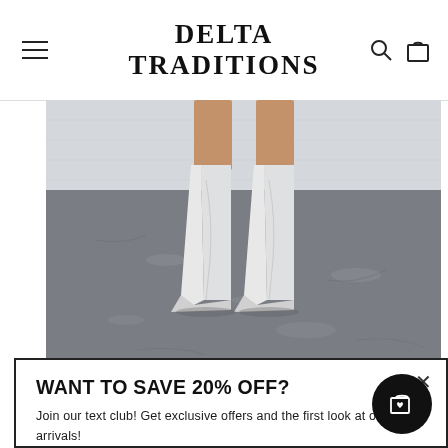DELTA TRADITIONS
[Figure (photo): Photo of a person's legs wearing white cowboy boots, standing on a concrete surface against a white brick wall background]
WANT TO SAVE 20% OFF?
Join our text club! Get exclusive offers and the first look at our new arrivals!
Text "DeltaT" to 844-384-6007